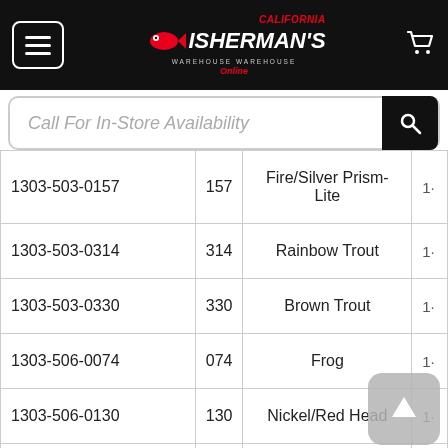Fisherman's Warehouse Online — navigation header with menu, logo, cart
Call For In-Store Availability
| SKU | Code | Description | 1· |
| --- | --- | --- | --- |
| 1303-503-0157 | 157 | Fire/Silver Prism-Lite | 1· |
| 1303-503-0314 | 314 | Rainbow Trout | 1· |
| 1303-503-0330 | 330 | Brown Trout | 1· |
| 1303-506-0074 | 074 | Frog | 1· |
| 1303-506-0130 | 130 | Nickel/Red Head | 1· |
| 1303-506-0131 | 131 | Brass/Red Head | 1· |